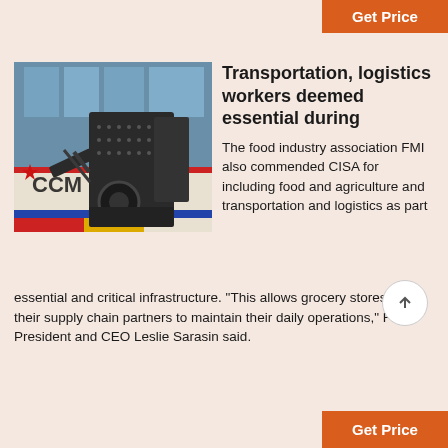Get Price
[Figure (photo): Industrial machinery (impact crusher or hammer mill) with black metal body and bolted panels, photographed in front of a building with glass facade. A red star logo and 'CCM' text visible on the background vehicle.]
Transportation, logistics workers deemed essential during
The food industry association FMI also commended CISA for including food and agriculture and transportation and logistics as part essential and critical infrastructure. "This allows grocery stores and their supply chain partners to maintain their daily operations," FMI President and CEO Leslie Sarasin said.
Get Price